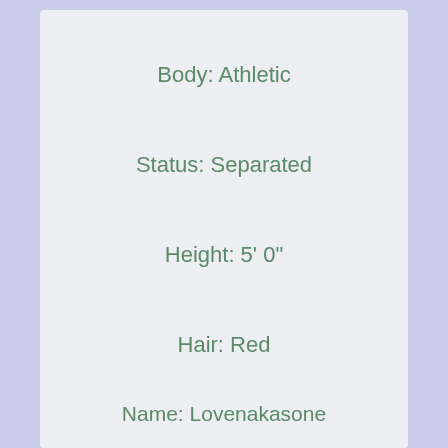Body: Athletic
Status: Separated
Height: 5' 0"
Hair: Red
Name: Lovenakasone
Age: 42
City: Foothill Ranch, CA 92610